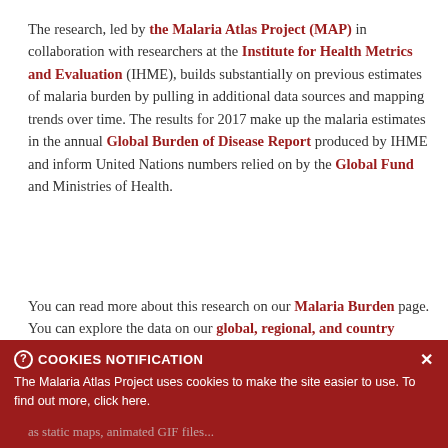The research, led by the Malaria Atlas Project (MAP) in collaboration with researchers at the Institute for Health Metrics and Evaluation (IHME), builds substantially on previous estimates of malaria burden by pulling in additional data sources and mapping trends over time. The results for 2017 make up the malaria estimates in the annual Global Burden of Disease Report produced by IHME and inform United Nations numbers relied on by the Global Fund and Ministries of Health.
You can read more about this research on our Malaria Burden page. You can explore the data on our global, regional, and country malaria trends pages and the Explorer tool. Data and pre-formatted maps are bundled together for convenience of download on our
Malaria Burden Data Download page.
COOKIES NOTIFICATION - The Malaria Atlas Project uses cookies to make the site easier to use. To find out more, click here.